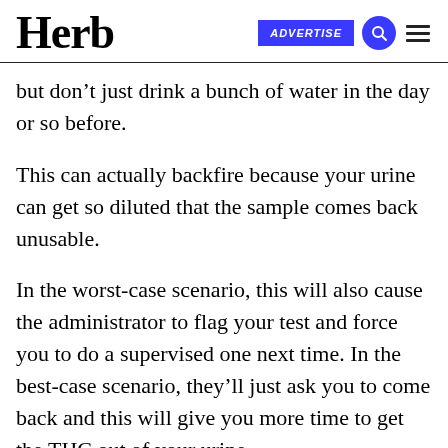Herb | ADVERTISE
but don't just drink a bunch of water in the day or so before.
This can actually backfire because your urine can get so diluted that the sample comes back unusable.
In the worst-case scenario, this will also cause the administrator to flag your test and force you to do a supervised one next time. In the best-case scenario, they'll just ask you to come back and this will give you more time to get the THC out of your urine.